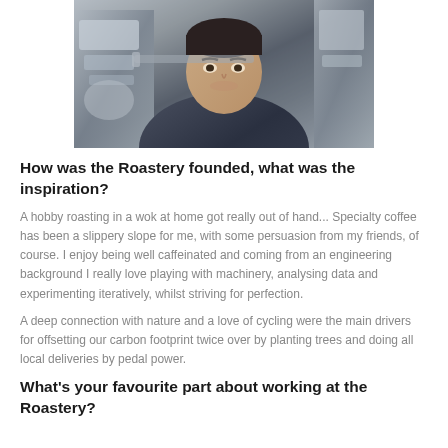[Figure (photo): A man in a dark jacket standing next to coffee roasting machinery, looking at the camera]
How was the Roastery founded, what was the inspiration?
A hobby roasting in a wok at home got really out of hand... Specialty coffee has been a slippery slope for me, with some persuasion from my friends, of course. I enjoy being well caffeinated and coming from an engineering background I really love playing with machinery, analysing data and experimenting iteratively, whilst striving for perfection.
A deep connection with nature and a love of cycling were the main drivers for offsetting our carbon footprint twice over by planting trees and doing all local deliveries by pedal power.
What's your favourite part about working at the Roastery?